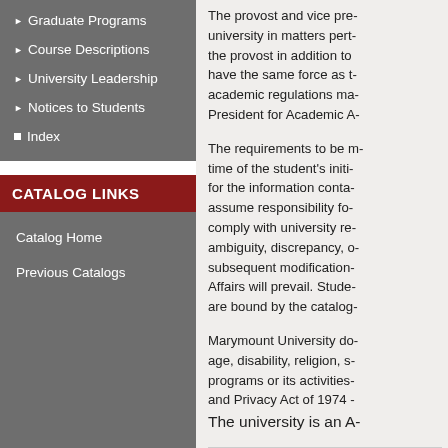Graduate Programs
Course Descriptions
University Leadership
Notices to Students
Index
CATALOG LINKS
Catalog Home
Previous Catalogs
The provost and vice pre- university in matters pert- the provost in addition to have the same force as t- academic regulations ma- President for Academic A-
The requirements to be m- time of the student's initi- for the information conta- assume responsibility fo- comply with university re- ambiguity, discrepancy, o- subsequent modification- Affairs will prevail. Stude- are bound by the catalog-
Marymount University do- age, disability, religion, s- programs or its activities- and Privacy Act of 1974 - The university is an A-
Catalog Contents